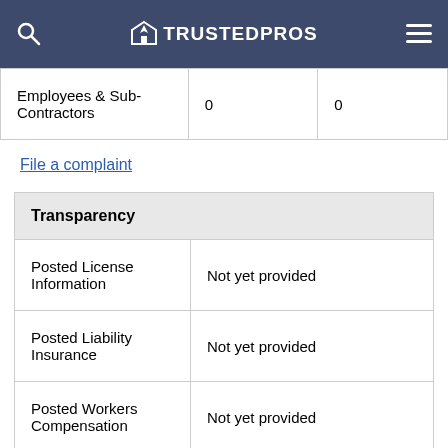TRUSTEDPROS
| Employees & Sub-Contractors | 0 | 0 |
File a complaint
| Transparency |  |
| --- | --- |
| Posted License Information | Not yet provided |
| Posted Liability Insurance | Not yet provided |
| Posted Workers Compensation | Not yet provided |
|  |  |